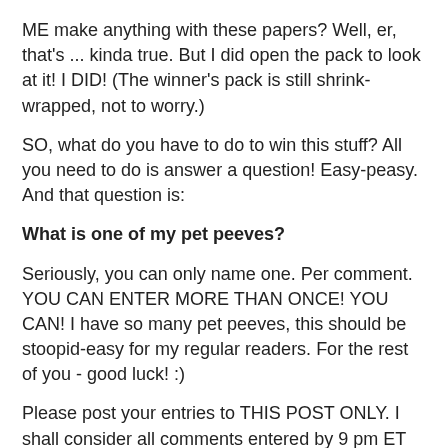ME make anything with these papers? Well, er, that's ... kinda true. But I did open the pack to look at it! I DID! (The winner's pack is still shrink-wrapped, not to worry.)
SO, what do you have to do to win this stuff? All you need to do is answer a question! Easy-peasy. And that question is:
What is one of my pet peeves?
Seriously, you can only name one. Per comment. YOU CAN ENTER MORE THAN ONCE! YOU CAN! I have so many pet peeves, this should be stoopid-easy for my regular readers. For the rest of you - good luck! :)
Please post your entries to THIS POST ONLY. I shall consider all comments entered by 9 pm ET on Saturday, October 2nd. I shall select the winner by a totally unfair and subjective process that has yet to be decided.
So enter early and enter often! Let the games begin!
And thanks for stopping by!